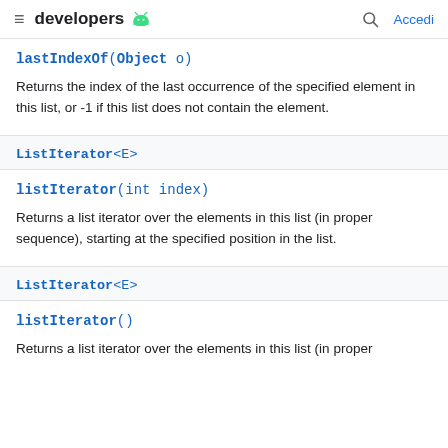developers [android logo] [search] Accedi
lastIndexOf(Object o)
Returns the index of the last occurrence of the specified element in this list, or -1 if this list does not contain the element.
ListIterator<E>
listIterator(int index)
Returns a list iterator over the elements in this list (in proper sequence), starting at the specified position in the list.
ListIterator<E>
listIterator()
Returns a list iterator over the elements in this list (in proper